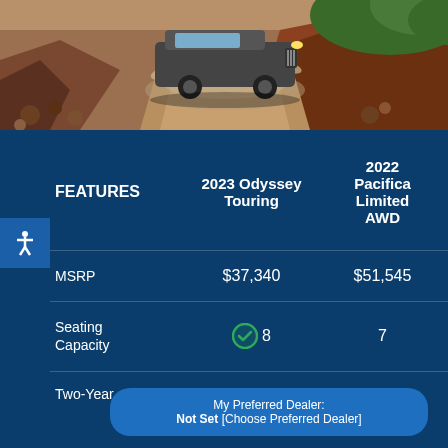[Figure (photo): SUV/truck driving through muddy dirt road terrain with water splash, rocky landscape and green foliage in background]
| FEATURES | 2023 Odyssey Touring | 2022 Pacifica Limited AWD |
| --- | --- | --- |
| MSRP | $37,340 | $51,545 |
| Seating Capacity | ✓ 8 | 7 |
| Two-Year, |  |  |
My Preferred Dealer: Not Set [Choose Preferred Dealer]